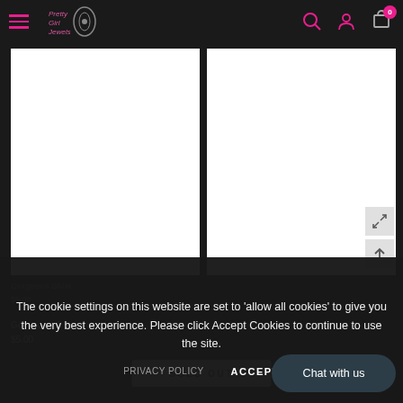[Figure (screenshot): Pretty Girl Jewels e-commerce website header with hamburger menu, logo, search icon, user icon, and cart icon with badge showing 0]
[Figure (photo): Left product image placeholder (white rectangle)]
[Figure (photo): Right product image placeholder (white rectangle) with expand and scroll-up icons]
The cookie settings on this website are set to 'allow all cookies' to give you the very best experience. Please click Accept Cookies to continue to use the site.
PRIVACY POLICY   ACCEPT
Gorgeous Glam
$5.00
SOLD OUT
Chat with us